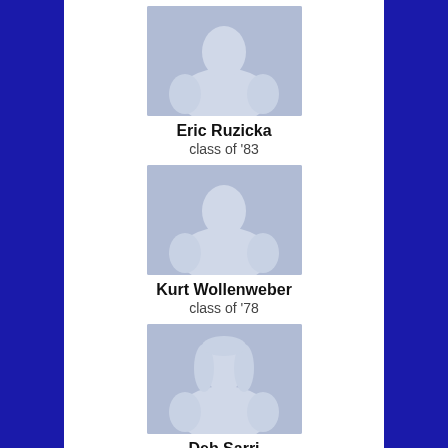[Figure (illustration): Silhouette avatar placeholder image for Eric Ruzicka]
Eric Ruzicka
class of '83
[Figure (illustration): Silhouette avatar placeholder image for Kurt Wollenweber]
Kurt Wollenweber
class of '78
[Figure (illustration): Silhouette avatar placeholder image for Deb Sarri]
Deb Sarri
class of '87
[Figure (illustration): Silhouette avatar placeholder image (fourth person, partially visible)]